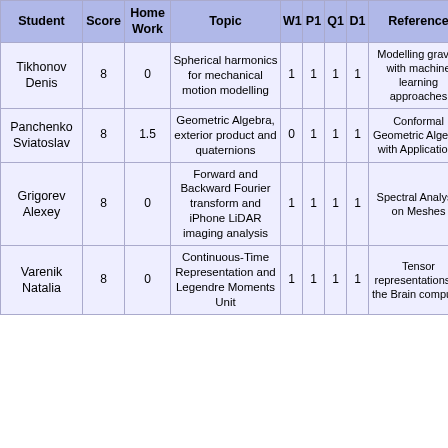| Student | Score | Home Work | Topic | W1 | P1 | Q1 | D1 | Reference |
| --- | --- | --- | --- | --- | --- | --- | --- | --- |
| Tikhonov Denis | 8 | 0 | Spherical harmonics for mechanical motion modelling | 1 | 1 | 1 | 1 | Modelling gravity with machine learning approaches |
| Panchenko Sviatoslav | 8 | 1.5 | Geometric Algebra, exterior product and quaternions | 0 | 1 | 1 | 1 | Conformal Geometric Algebra with Applications |
| Grigorev Alexey | 8 | 0 | Forward and Backward Fourier transform and iPhone LiDAR imaging analysis | 1 | 1 | 1 | 1 | Spectral Analysis on Meshes |
| Varenik Natalia | 8 | 0 | Continuous-Time Representation and Legendre Moments Unit | 1 | 1 | 1 | 1 | Tensor representations of the Brain computer |